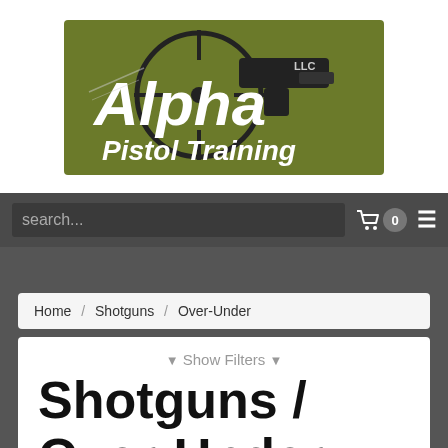[Figure (logo): Alpha Pistol Training LLC logo with crosshair and pistol graphic on olive/dark background]
search...
0
Home / Shotguns / Over-Under
▼ Show Filters ▼
Shotguns / Over-Under
Search...
Sign our waiver +